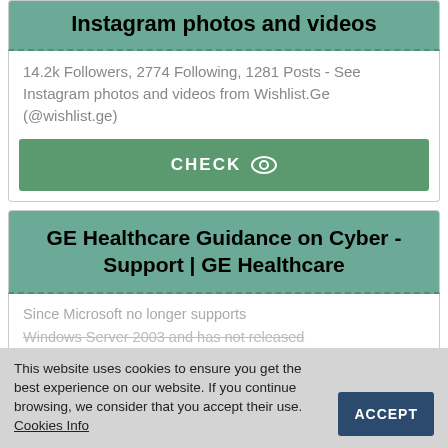Instagram photos and videos
14.2k Followers, 2774 Following, 1281 Posts - See Instagram photos and videos from Wishlist.Ge (@wishlist.ge)
CHECK
GE Healthcare Guidance on Cyber - Support | GE Healthcare
Since Microsoft no longer supports
Windows Server 2003 and has not released
This website uses cookies to ensure you get the best experience on our website. If you continue browsing, we consider that you accept their use. Cookies Info